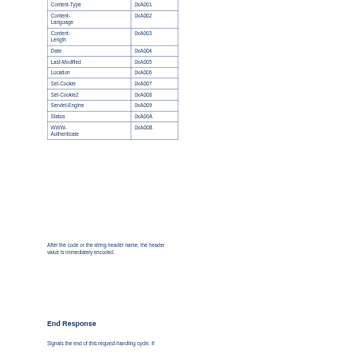|  |  |
| --- | --- |
| Content-Type | 0xA001 |
| Content-Language | 0xA002 |
| Content-Length | 0xA003 |
| Date | 0xA004 |
| Last-Modified | 0xA005 |
| Location | 0xA006 |
| Set-Cookie | 0xA007 |
| Set-Cookie2 | 0xA008 |
| Servlet-Engine | 0xA009 |
| Status | 0xA00A |
| WWW-Authenticate | 0xA00B |
After the code or the string header name, the header value is immediately encoded.
End Response
Signals the end of this request-handling cycle. If